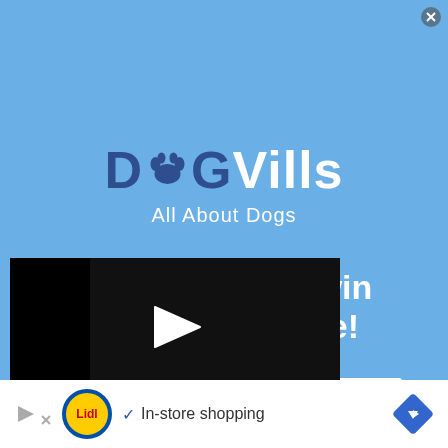[Figure (logo): DogVills logo with paw print icon and tagline 'All About Dogs' on blue background]
Get entered to win free food for life!
[Figure (screenshot): Video player error overlay showing play arrow icon and message: 'This video file cannot be played. (Error Code: 224003)']
[Figure (screenshot): Ad banner showing Lidl logo, checkmark, text 'In-store shopping', and a blue navigation arrow diamond icon]